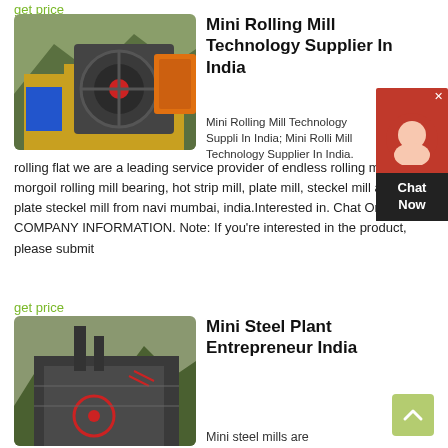get price
[Figure (photo): Industrial rolling mill machinery with yellow frame and black components, green forested mountains in background]
Mini Rolling Mill Technology Supplier In India
Mini Rolling Mill Technology Supplier In India; Mini Rolling Mill Technology Supplier In India.
rolling flat we are a leading service provider of endless rolling mill, morgoil rolling mill bearing, hot strip mill, plate mill, steckel mill and plate steckel mill from navi mumbai, india.Interested in. Chat Online. COMPANY INFORMATION. Note: If you're interested in the product, please submit
get price
[Figure (photo): Industrial steel plant machinery, dark metal structure with red circle annotation markers]
Mini Steel Plant Entrepreneur India
Mini steel mills are